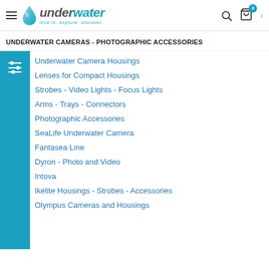underwater — dive in. explore. discover.
UNDERWATER CAMERAS - PHOTOGRAPHIC ACCESSORIES
Underwater Camera Housings
Lenses for Compact Housings
Strobes - Video Lights - Focus Lights
Arms - Trays - Connectors
Photographic Accessories
SeaLife Underwater Camera
Fantasea Line
Dyron - Photo and Video
Intova
Ikelite Housings - Strobes - Accessories
Olympus Cameras and Housings